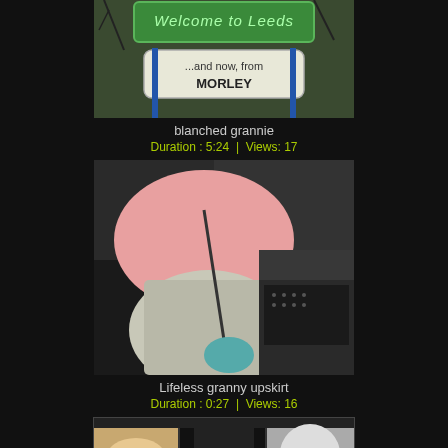[Figure (photo): Photo of a Welcome to Leeds road sign with a supplementary sign reading '...and now, from MORLEY']
blanched grannie
Duration : 5:24 | Views: 17
[Figure (photo): Upskirt photo thumbnail showing a woman in a pink top and grey skirt near a bus or vehicle]
Lifeless granny upskirt
Duration : 0:27 | Views: 16
[Figure (photo): Partial thumbnail strip showing three video thumbnails at the bottom of the page]